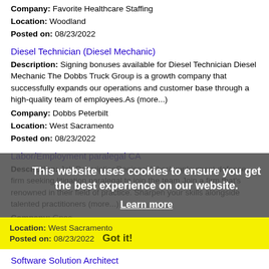Company: Favorite Healthcare Staffing
Location: Woodland
Posted on: 08/23/2022
Diesel Technician (Diesel Mechanic)
Description: Signing bonuses available for Diesel Technician Diesel Mechanic The Dobbs Truck Group is a growth company that successfully expands our operations and customer base through a high-quality team of employees.As (more...)
Company: Dobbs Peterbilt
Location: West Sacramento
Posted on: 08/23/2022
Labor/Employment paralegal CA
Description: Job DescriptionRegional labor/employment defense firm seeking litigation paralegal to join the team Join a firm that's renowned in their field of practice. Sharpen your skills alongside talented practitioners (more...)
Company: Gpac
Location: West Sacramento
Posted on: 08/23/2022
Software Solution Architect
Description: Job Description Software Solution Architect I Job